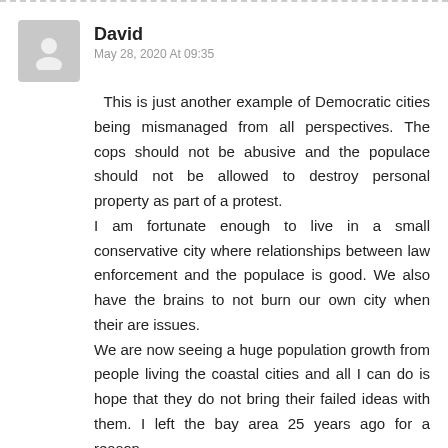David
May 28, 2020 At 09:35
This is just another example of Democratic cities being mismanaged from all perspectives. The cops should not be abusive and the populace should not be allowed to destroy personal property as part of a protest.
I am fortunate enough to live in a small conservative city where relationships between law enforcement and the populace is good. We also have the brains to not burn our own city when their are issues.
We are now seeing a huge population growth from people living the coastal cities and all I can do is hope that they do not bring their failed ideas with them. I left the bay area 25 years ago for a reason.
Reply